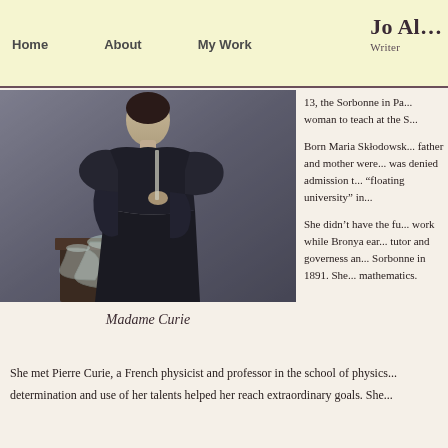Home   About   My Work   Jo Al... Writer
[Figure (photo): Black and white photograph of Madame Curie in dark dress holding a glass flask, with laboratory glassware on a table beside her]
Madame Curie
13, the Sorbonne in Pa... woman to teach at the S...
Born Maria Skłodowsk... father and mother were... was denied admission t... "floating university" in...
She didn't have the fur... work while Bronya ear... tutor and governess an... Sorbonne in 1891. She... mathematics.
She met Pierre Curie, a French physicist and professor in the school of physics... determination and use of her talents helped her reach extraordinary goals. She...